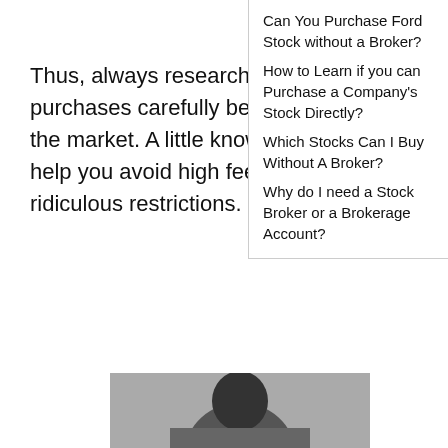Thus, always research stock purchases carefully before entering the market. A little knowledge can help you avoid high fees and ridiculous restrictions.
Can You Purchase Ford Stock without a Broker?
How to Learn if you can Purchase a Company's Stock Directly?
Which Stocks Can I Buy Without A Broker?
Why do I need a Stock Broker or a Brokerage Account?
[Figure (photo): Partial black and white photo of a person, cropped at the bottom of the page]